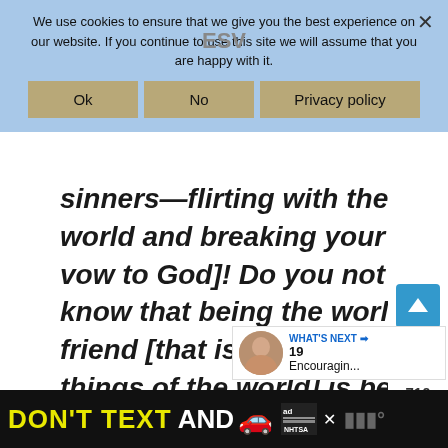We use cookies to ensure that we give you the best experience on our website. If you continue to use this site we will assume that you are happy with it.
sinners—flirting with the world and breaking your vow to God]! Do you not know that being the world's friend [that is, loving the things of the world] is being God's enemy? So whoever chooses to be a friend of the
710
WHAT'S NEXT → 19 Encouragin...
[Figure (infographic): DON'T TEXT AND drive advertisement banner with yellow and cyan text, car emoji, and NHTSA logo on black background]